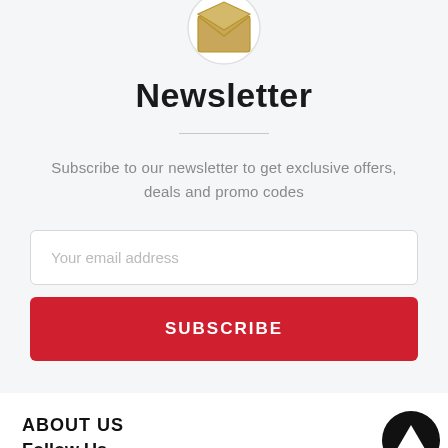[Figure (illustration): Envelope icon inside a circle at the top of the newsletter section]
Newsletter
Subscribe to our newsletter to get exclusive offers, deals and promo codes
Your email address
SUBSCRIBE
ABOUT US
Follow Us
[Figure (illustration): Social media icons: Facebook (black circle), Twitter, Instagram]